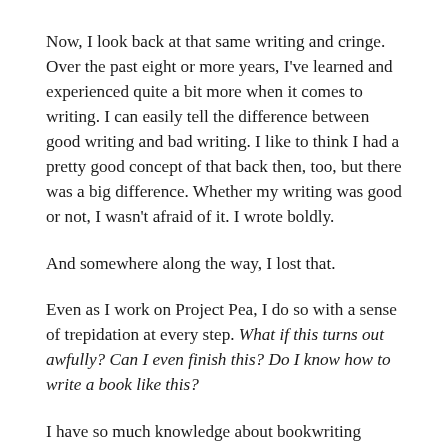Now, I look back at that same writing and cringe. Over the past eight or more years, I've learned and experienced quite a bit more when it comes to writing. I can easily tell the difference between good writing and bad writing. I like to think I had a pretty good concept of that back then, too, but there was a big difference. Whether my writing was good or not, I wasn't afraid of it. I wrote boldly.
And somewhere along the way, I lost that.
Even as I work on Project Pea, I do so with a sense of trepidation at every step. What if this turns out awfully? Can I even finish this? Do I know how to write a book like this?
I have so much knowledge about bookwriting stuffed